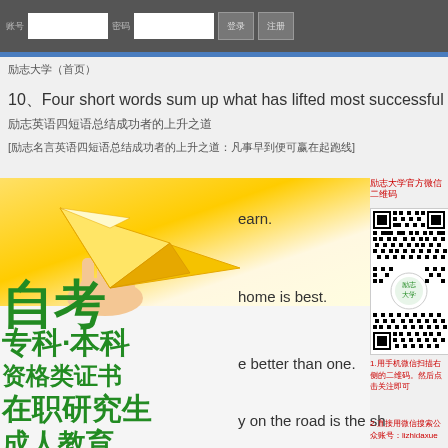励志大学 navigation bar with search inputs and buttons
励志大学（首页）
10、Four short words sum up what has lifted most successful i
励志英语四短语总结成功者的上升之道
[励志名言英语四短语总结成功者的上升之道：凡事早到便可赢在起跑线]
[Figure (illustration): Yellow paper airplane held by a hand, with Chinese text overlay: 自考, 专科·本科, 资格类证书, 在职研究生, 成人教育]
earn.
home is best.
e better than one.
y on the road is the sh
[Figure (other): QR code for 励志大学 official WeChat account]
励志大学官方微信二维码
1.用手机微信扫描右侧的二维码。然后点击关注即可
2.直接用微信搜索公众账号：lizhidaxue